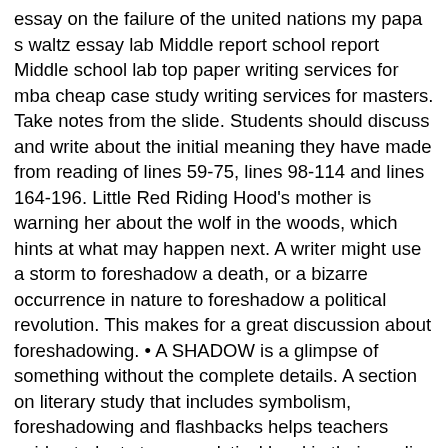essay on the failure of the united nations my papa s waltz essay lab Middle report school report Middle school lab top paper writing services for mba cheap case study writing services for masters. Take notes from the slide. Students should discuss and write about the initial meaning they have made from reading of lines 59-75, lines 98-114 and lines 164-196. Little Red Riding Hood's mother is warning her about the wolf in the woods, which hints at what may happen next. A writer might use a storm to foreshadow a death, or a bizarre occurrence in nature to foreshadow a political revolution. This makes for a great discussion about foreshadowing. • A SHADOW is a glimpse of something without the complete details. A section on literary study that includes symbolism, foreshadowing and flashbacks helps teachers guide students to an analytical level in their reading and writing. Some of the worksheets for this concept are Name notes foreshadowing, Flashback and foreshadowing name, Foreshadowing in the landlady, Practice, Return to school, Reading strategies and literary elements, Flashback and foreshadowing practice exercises practice 1, Name foggy figure. TO WRAP UP LITERARY DEVICES Foreshadowing. For bonus Halloween points, have the students make their own monster, complete with how it sounds, smells, and appears. This resource was reviewed using the Curriki Review rubric and received an overall